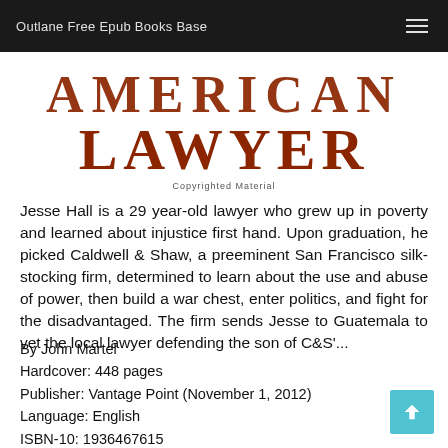Outlane Free Epub Books Base
[Figure (illustration): Book cover showing the partial title 'AMERICAN LAWYER' in large serif font with 'Copyrighted Material' text below]
Jesse Hall is a 29 year-old lawyer who grew up in poverty and learned about injustice first hand. Upon graduation, he picked Caldwell & Shaw, a preeminent San Francisco silk-stocking firm, determined to learn about the use and abuse of power, then build a war chest, enter politics, and fight for the disadvantaged. The firm sends Jesse to Guatemala to vet the local lawyer defending the son of C&S'...
By John Martel
Hardcover: 448 pages
Publisher: Vantage Point (November 1, 2012)
Language: English
ISBN-10: 1936467615